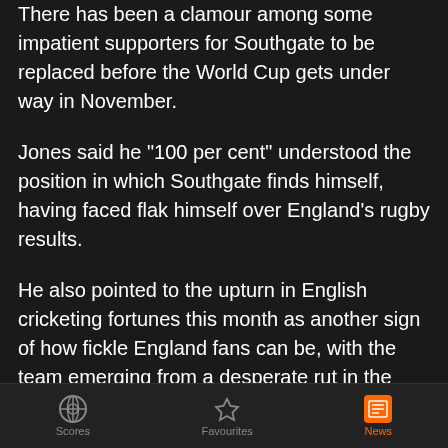There has been a clamour among some impatient supporters for Southgate to be replaced before the World Cup gets under way in November.
Jones said he "100 per cent" understood the position in which Southgate finds himself, having faced flak himself over England's rugby results.
He also pointed to the upturn in English cricketing fortunes this month as another sign of how fickle England fans can be, with the team emerging from a desperate rut in the Test game and suddenly being hailed as world-beaters.
"I find English sport amusing in that way," Jones said.
"English cricket two weeks ago didn't know what they were
Scores   Favourites   News